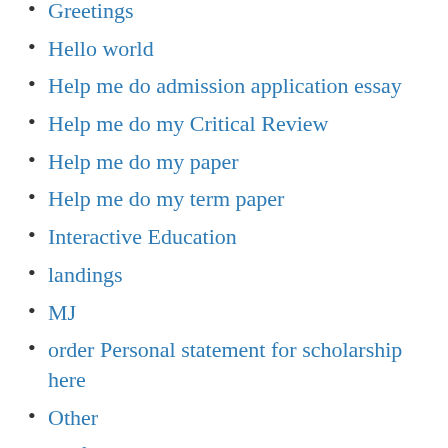Greetings
Hello world
Help me do admission application essay
Help me do my Critical Review
Help me do my paper
Help me do my term paper
Interactive Education
landings
MJ
order Personal statement for scholarship here
Other
Professional writing help
progon
Research paper writing
Same day essay
School